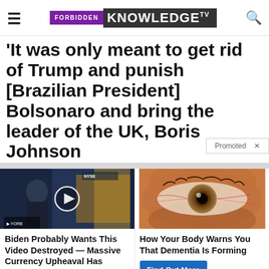FORBIDDEN KNOWLEDGE TV
'It was only meant to get rid of Trump and punish [Brazilian President] Bolsonaro and bring the leader of the UK, Boris Johnson...
Promoted  ×
[Figure (screenshot): TV studio video thumbnail with play button, showing a man in a suit on a financial news set]
Biden Probably Wants This Video Destroyed — Massive Currency Upheaval Has Started
Watch The Video
[Figure (photo): Extreme close-up photograph of a human eye with detailed iris]
How Your Body Warns You That Dementia Is Forming
Find Out More